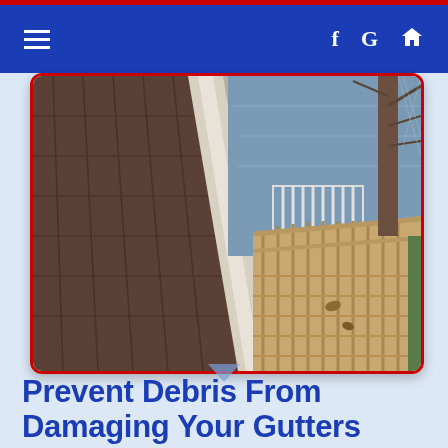Navigation header with hamburger menu, Facebook, Google, and Home icons
[Figure (photo): Aerial/top-down view of a clean white aluminum gutter running diagonally along a roofline with dark shingles on the left. In the background, a wood deck with railings, a white picket fence, blue water, a bare tree, and a green retaining wall are visible. The photo is taken from above looking down.]
Prevent Debris From Damaging Your Gutters